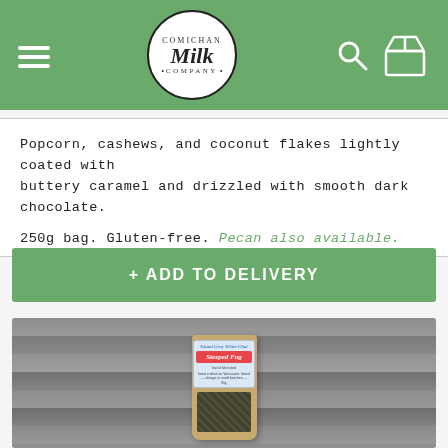Comichan Milk Company
Popcorn, cashews, and coconut flakes lightly coated with buttery caramel and drizzled with smooth dark chocolate.
250g bag. Gluten-free. Pecan also available.
+ ADD TO DELIVERY
[Figure (photo): Product photo of Steeped Fog Island Grey White Chai tea in a kraft paper pouch, placed on a weathered grey wood surface. The label shows 'Island Grey White Chai' and 'Steeped Fog' in red text with chai spices visible through the bottom of the bag.]